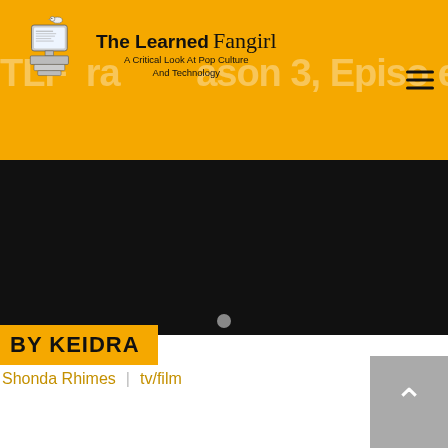The Learned Fangirl — A Critical Look At Pop Culture And Technology
[Figure (screenshot): Website header with logo (illustrated computer with bird) and site name 'The Learned Fangirl' with subtitle 'A Critical Look At Pop Culture And Technology' on gold/yellow background, with hamburger menu icon on right, and watermark text 'TLF ... Season 3, Episode...' overlaid]
BY KEIDRA
Shonda Rhimes  |  tv/film